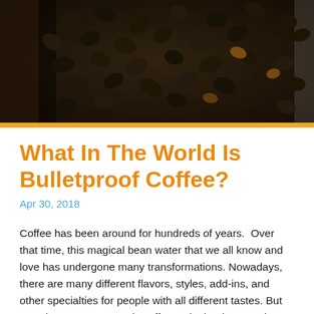[Figure (photo): Close-up photograph of dark roasted coffee beans filling the frame, with some lighter colored beans visible. Dark, moody tones with warm amber highlights.]
What In The World Is Bulletproof Coffee?
Apr 30, 2018
Coffee has been around for hundreds of years.  Over that time, this magical bean water that we all know and love has undergone many transformations. Nowadays, there are many different flavors, styles, add-ins, and other specialties for people with all different tastes. But now there's a new trendy coffee style that is sweeping the world. It's called Bulletproof coffee, and whether you've been experimenting